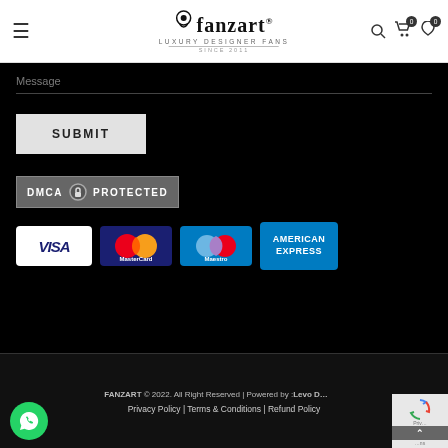fanzart LUXURY DESIGNER FANS SINCE 2011
Message
SUBMIT
[Figure (logo): DMCA Protected badge with lock icon]
[Figure (logo): Payment method logos: VISA, MasterCard, Maestro, American Express]
FANZART © 2022. All Right Reserved | Powered by :Levo D... | Privacy Policy | Terms & Conditions | Refund Policy